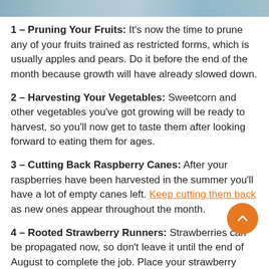[Figure (photo): Partial image strip at top of page showing outdoor/garden scene]
1 – Pruning Your Fruits: It's now the time to prune any of your fruits trained as restricted forms, which is usually apples and pears. Do it before the end of the month because growth will have already slowed down.
2 – Harvesting Your Vegetables: Sweetcorn and other vegetables you've got growing will be ready to harvest, so you'll now get to taste them after looking forward to eating them for ages.
3 – Cutting Back Raspberry Canes: After your raspberries have been harvested in the summer you'll have a lot of empty canes left. Keep cutting them back as new ones appear throughout the month.
4 – Rooted Strawberry Runners: Strawberries can be propagated now, so don't leave it until the end of August to complete the job. Place your strawberry runners into pots of compost after they've been pushed into the beds.